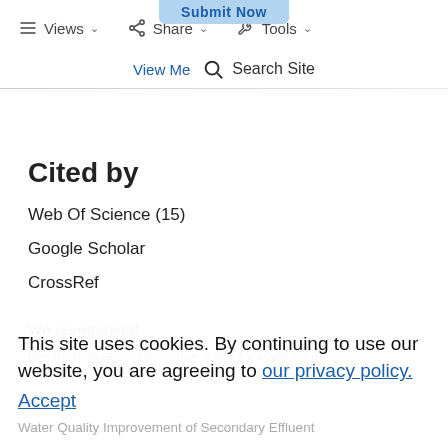Submit Now | Views | Share | Tools | View Me... | Search Site
Cited by
Web Of Science (15)
Google Scholar
CrossRef
We recommend
Pre-treating algae-laden raw water by silver carp
during Microcystis-dominated and non-Microcystis-
This site uses cookies. By continuing to use our website, you are agreeing to our privacy policy. Accept
Water Quality Improvement of Secondary Effluent